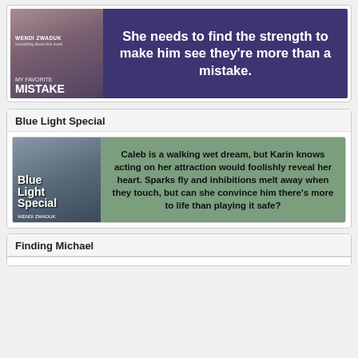[Figure (illustration): Book banner for 'My Favorite Mistake' by Wendi Zwaduk with purple background and tagline text]
Blue Light Special
[Figure (illustration): Book banner for 'Blue Light Special' with green background and blond woman on cover]
Finding Michael